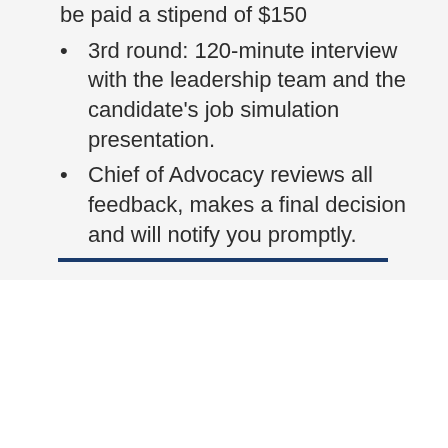be paid a stipend of $150
3rd round: 120-minute interview with the leadership team and the candidate's job simulation presentation.
Chief of Advocacy reviews all feedback, makes a final decision and will notify you promptly.